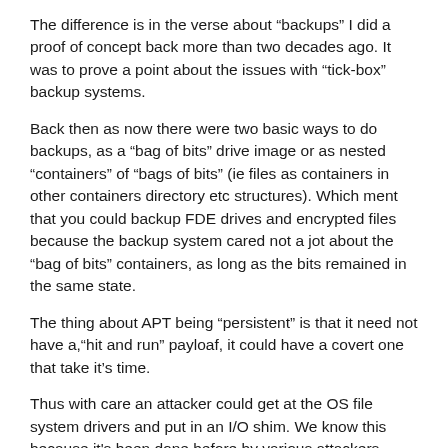The difference is in the verse about “backups” I did a proof of concept back more than two decades ago. It was to prove a point about the issues with “tick-box” backup systems.
Back then as now there were two basic ways to do backups, as a “bag of bits” drive image or as nested “containers” of “bags of bits” (ie files as containers in other containers directory etc structures). Which ment that you could backup FDE drives and encrypted files because the backup system cared not a jot about the “bag of bits” containers, as long as the bits remained in the same state.
The thing about APT being “persistent” is that it need not have a,“hit and run” payloaf, it could have a covert one that take it’s time.
Thus with care an attacker could get at the OS file system drivers and put in an I/O shim. We know this because it's been done before by various attackers.
If the shim is designed to act like an “Inline Media Encryptor” (IME), then the Computer at the OS level sees plaintext and the hard drive –apart from what is required to boot the